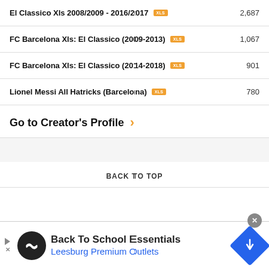El Classico Xls 2008/2009 - 2016/2017  2,687
FC Barcelona Xls: El Classico (2009-2013)  1,067
FC Barcelona Xls: El Classico (2014-2018)  901
Lionel Messi All Hatricks (Barcelona)  780
Go to Creator's Profile
BACK TO TOP
[Figure (other): Advertisement banner: Back To School Essentials - Leesburg Premium Outlets with logo and navigation icon]